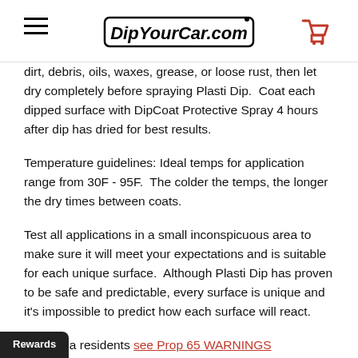DipYourCar.com
dirt, debris, oils, waxes, grease, or loose rust, then let dry completely before spraying Plasti Dip.  Coat each dipped surface with DipCoat Protective Spray 4 hours after dip has dried for best results.
Temperature guidelines: Ideal temps for application range from 30F - 95F.  The colder the temps, the longer the dry times between coats.
Test all applications in a small inconspicuous area to make sure it will meet your expectations and is suitable for each unique surface.  Although Plasti Dip has proven to be safe and predictable, every surface is unique and it's impossible to predict how each surface will react.
California residents see Prop 65 WARNINGS